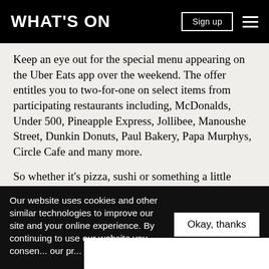WHAT'S ON
Keep an eye out for the special menu appearing on the Uber Eats app over the weekend. The offer entitles you to two-for-one on select items from participating restaurants including, McDonalds, Under 500, Pineapple Express, Jollibee, Manoushe Street, Dunkin Donuts, Paul Bakery, Papa Murphys, Circle Cafe and many more.
So whether it's pizza, sushi or something a little more healthy you're craving, play your cards right and you can manage three square meals a day each for you and your bestie/significant other/chihuahua for half price this
Our website uses cookies and other similar technologies to improve our site and your online experience. By continuing to use our website you consen... our pr...